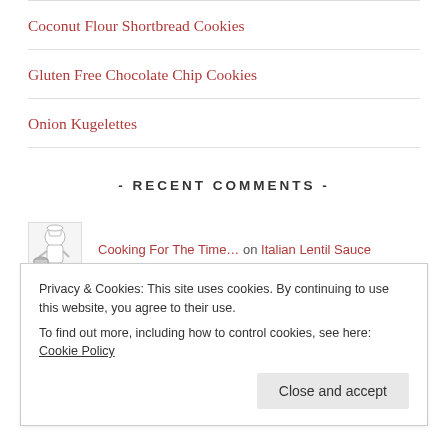Coconut Flour Shortbread Cookies
Gluten Free Chocolate Chip Cookies
Onion Kugelettes
- RECENT COMMENTS -
Cooking For The Time… on Italian Lentil Sauce
Ronit Penso Tasty Ea… on Italian Lentil Sauce
Privacy & Cookies: This site uses cookies. By continuing to use this website, you agree to their use.
To find out more, including how to control cookies, see here: Cookie Policy